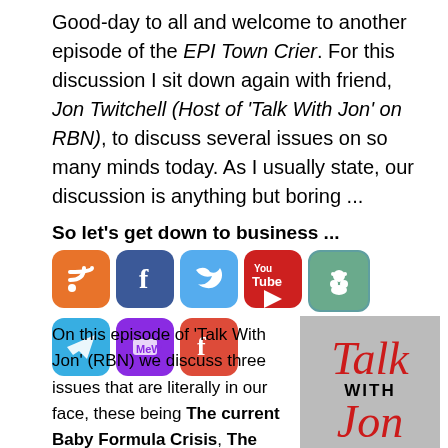Good-day to all and welcome to another episode of the EPI Town Crier. For this discussion I sit down again with friend, Jon Twitchell (Host of 'Talk With Jon' on RBN), to discuss several issues on so many minds today. As I usually state, our discussion is anything but boring ...
So let's get down to business ...
[Figure (infographic): Row of social media icon buttons: RSS (orange), Facebook (blue), Twitter (light blue), YouTube (red), Reddit (teal), Telegram (blue), two more icons (purple, orange-red)]
On this episode of 'Talk With Jon' (RBN) we discuss three issues that are literally in our face, these being The current Baby Formula Crisis, The Ministry of Truth, and 2000 Mules, with a short delve into the Roe
[Figure (logo): Talk With Jon logo in red italic text on a grey background]